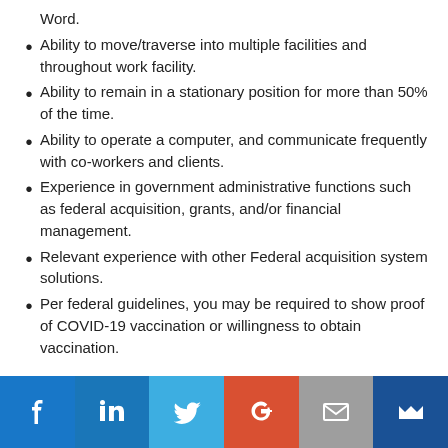Word.
Ability to move/traverse into multiple facilities and throughout work facility.
Ability to remain in a stationary position for more than 50% of the time.
Ability to operate a computer, and communicate frequently with co-workers and clients.
Experience in government administrative functions such as federal acquisition, grants, and/or financial management.
Relevant experience with other Federal acquisition system solutions.
Per federal guidelines, you may be required to show proof of COVID-19 vaccination or willingness to obtain vaccination.
Education
[Figure (infographic): Social media sharing icons bar: Facebook (blue), LinkedIn (dark blue), Twitter (light blue), Google+ (red-orange), Email (gray), Mailing (dark navy blue)]